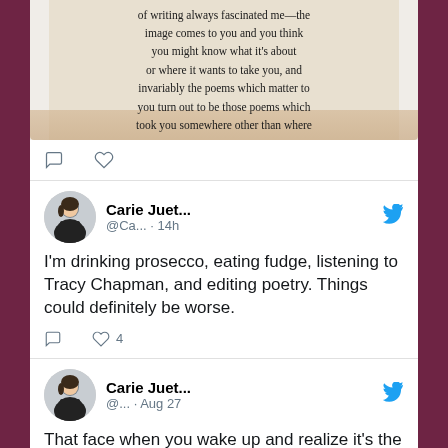[Figure (screenshot): Screenshot of a Twitter/social media feed showing tweets by Carie Juet... The top partial tweet shows a book image with text about writing and poems. Below are two full tweets: one about drinking prosecco, eating fudge, listening to Tracy Chapman, and editing poetry (14h ago, 4 likes), and one starting 'That face when you wake up and realize it's the...' (Aug 27). Background is a gold/yellow grid pattern with dark purple side bars.]